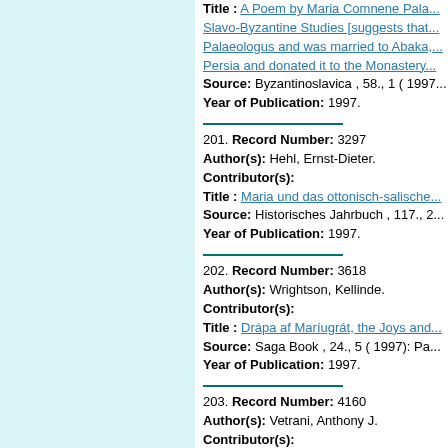Title : A Poem by Maria Comnene Pala... Slavo-Byzantine Studies [suggests that... Palaeologus and was married to Abaka,... Persia and donated it to the Monastery...
Source: Byzantinoslavica , 58., 1 ( 1997...
Year of Publication: 1997.
201. Record Number: 3297
Author(s): Hehl, Ernst-Dieter.
Contributor(s):
Title : Maria und das ottonisch-salische...
Source: Historisches Jahrbuch , 117., 2...
Year of Publication: 1997.
202. Record Number: 3618
Author(s): Wrightson, Kellinde.
Contributor(s):
Title : Drápa af Maríugrát, the Joys and...
Source: Saga Book , 24., 5 ( 1997):  Pa...
Year of Publication: 1997.
203. Record Number: 4160
Author(s): Vetrani, Anthony J.
Contributor(s):
Title : Christian Allegory in Selected "Mi... allegory in two "Milagros," one of which...
Source: Journal of Hispanic Philology ,
Year of Publication: 1997.